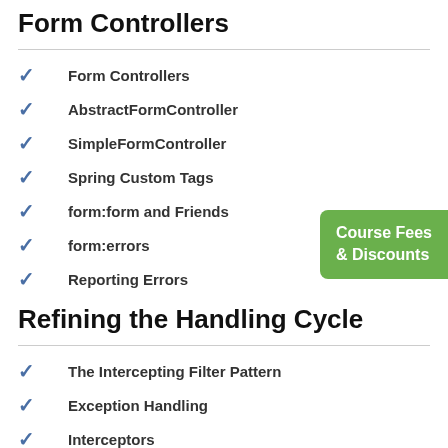Form Controllers
Form Controllers
AbstractFormController
SimpleFormController
Spring Custom Tags
form:form and Friends
form:errors
Reporting Errors
[Figure (other): Green badge label reading 'Course Fees & Discounts']
Refining the Handling Cycle
The Intercepting Filter Pattern
Exception Handling
Interceptors
The Decorator Pattern